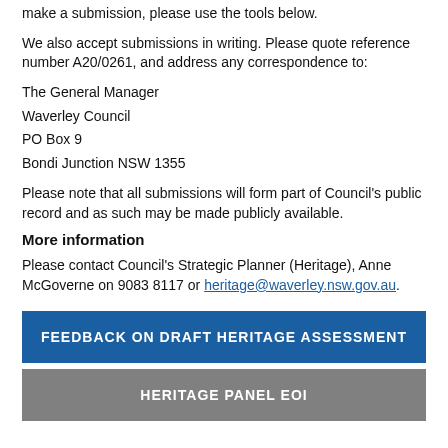make a submission, please use the tools below.
We also accept submissions in writing. Please quote reference number A20/0261, and address any correspondence to:
The General Manager
Waverley Council
PO Box 9
Bondi Junction NSW 1355
Please note that all submissions will form part of Council's public record and as such may be made publicly available.
More information
Please contact Council's Strategic Planner (Heritage), Anne McGoverne on 9083 8117 or heritage@waverley.nsw.gov.au.
FEEDBACK ON DRAFT HERITAGE ASSESSMENT
HERITAGE PANEL EOI